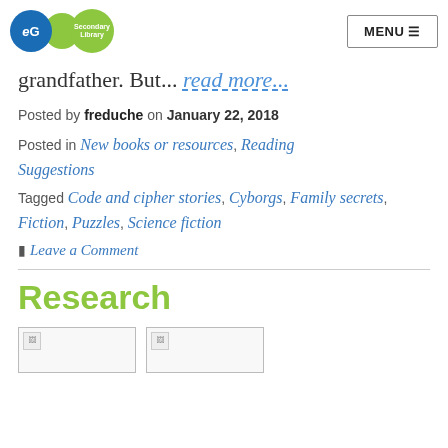EG Ca Secondary Library | MENU
grandfather. But... read more...
Posted by freduche on January 22, 2018
Posted in New books or resources, Reading Suggestions
Tagged Code and cipher stories, Cyborgs, Family secrets, Fiction, Puzzles, Science fiction
Leave a Comment
Research
[Figure (photo): Two broken image placeholders side by side below the Research heading]